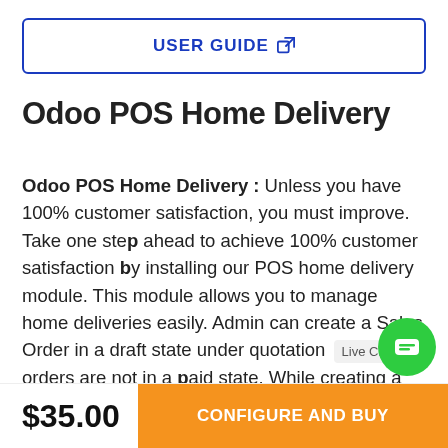USER GUIDE
Odoo POS Home Delivery
Odoo POS Home Delivery : Unless you have 100% customer satisfaction, you must improve. Take one step ahead to achieve 100% customer satisfaction by installing our POS home delivery module. This module allows you to manage home deliveries easily. Admin can create a Sales Order in a draft state under quotation orders are not in a paid state. While creating a sales order for home delivery admin can add another delivery address as per customer request. Extra charges can be charged for
$35.00
CONFIGURE AND BUY